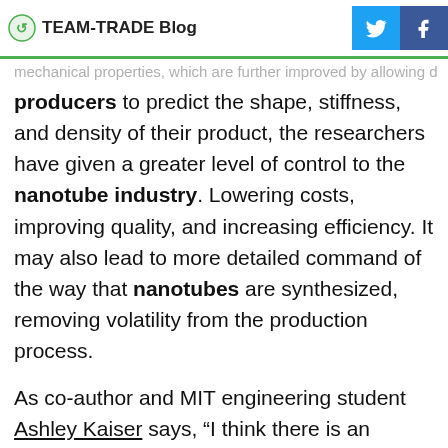TEAM-TRADE Blog
mechanical properties, which are further improved by allowing
producers to predict the shape, stiffness, and density of their product, the researchers have given a greater level of control to the nanotube industry. Lowering costs, improving quality, and increasing efficiency. It may also lead to more detailed command of the way that nanotubes are synthesized, removing volatility from the production process.
As co-author and MIT engineering student Ashley Kaiser says, “I think there is an underlying beauty in this nanofiber self-